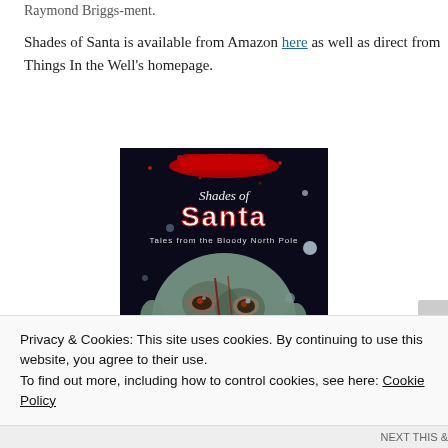Raymond Briggs-ment.
Shades of Santa is available from Amazon here as well as direct from Things In the Well's homepage.
[Figure (illustration): Book cover for 'Shades of Santa: Tales from the Bloody North Pole' showing a grotesque zombie-like Santa Claus face on a dark background with the title text in stylized lettering.]
Privacy & Cookies: This site uses cookies. By continuing to use this website, you agree to their use.
To find out more, including how to control cookies, see here: Cookie Policy
Close and accept